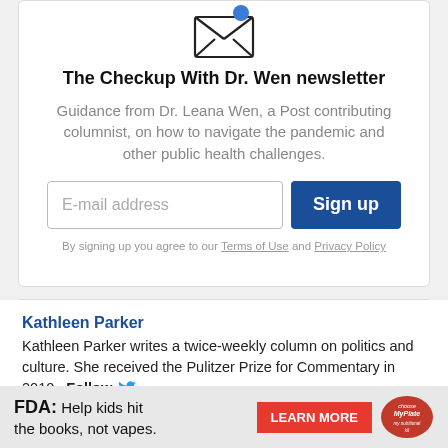[Figure (illustration): Open envelope icon with a blue notification dot in the top right corner]
The Checkup With Dr. Wen newsletter
Guidance from Dr. Leana Wen, a Post contributing columnist, on how to navigate the pandemic and other public health challenges.
[Figure (other): Email sign-up form with E-mail address input field and blue Sign up button]
By signing up you agree to our Terms of Use and Privacy Policy
Kathleen Parker
Kathleen Parker writes a twice-weekly column on politics and culture. She received the Pulitzer Prize for Commentary in 2010.  Follow
[Figure (other): FDA advertisement: Help kids hit the books, not vapes. Learn More button with Choose My Plate logo]